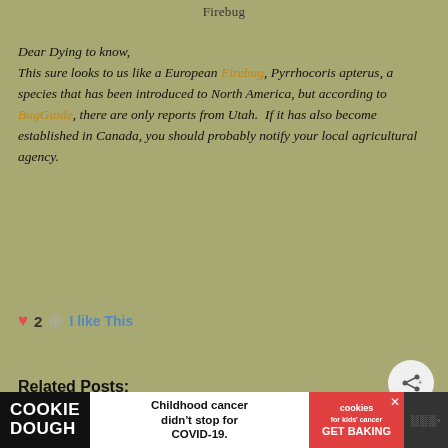Firebug
Dear Dying to know,
This sure looks to us like a European Firebug, Pyrrhocoris apterus, a species that has been introduced to North America, but according to BugGuide, there are only reports from Utah.  If it has also become established in Canada, you should probably notify your local agricultural agency.
❤ 2  + I like This
Related Posts:
[Figure (photo): Photo of a red and black firebug insect on sandy surface]
[Figure (photo): Photo of a red and black firebug insect on light background]
WHAT'S NEXT → American Pelecinid
COOKIE DOUGH  Childhood cancer didn't stop for COVID-19.  cookies for kids' cancer  GET BAKING ✕